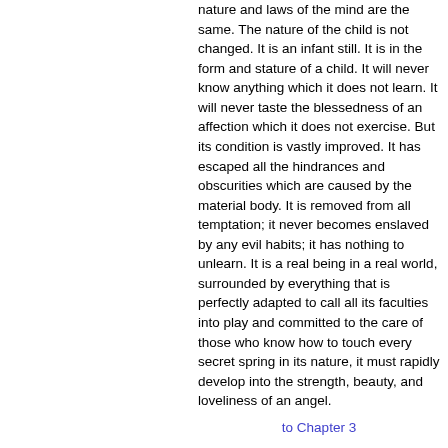nature and laws of the mind are the same. The nature of the child is not changed. It is an infant still. It is in the form and stature of a child. It will never know anything which it does not learn. It will never taste the blessedness of an affection which it does not exercise. But its condition is vastly improved. It has escaped all the hindrances and obscurities which are caused by the material body. It is removed from all temptation; it never becomes enslaved by any evil habits; it has nothing to unlearn. It is a real being in a real world, surrounded by everything that is perfectly adapted to call all its faculties into play and committed to the care of those who know how to touch every secret spring in its nature, it must rapidly develop into the strength, beauty, and loveliness of an angel.
to Chapter 3